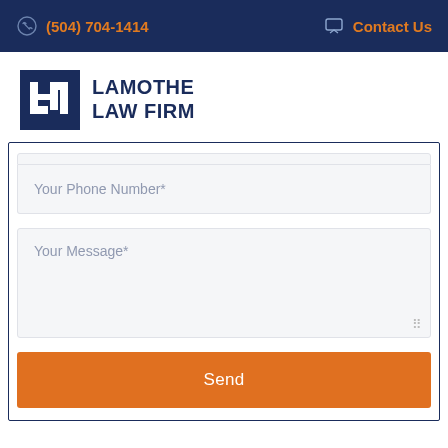(504) 704-1414   Contact Us
[Figure (logo): Lamothe Law Firm logo with LLF monogram in a dark navy square, followed by bold navy text reading LAMOTHE LAW FIRM]
Your Phone Number*
Your Message*
Send